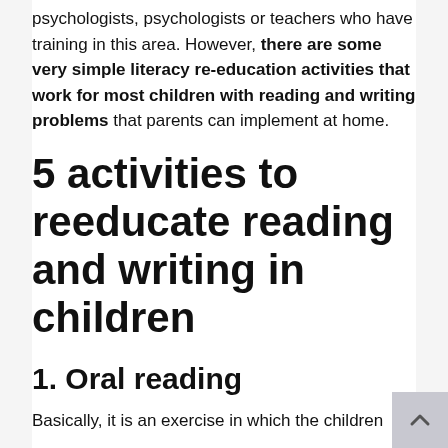psychologists, psychologists or teachers who have training in this area. However, there are some very simple literacy re-education activities that work for most children with reading and writing problems that parents can implement at home.
5 activities to reeducate reading and writing in children
1. Oral reading
Basically, it is an exercise in which the children